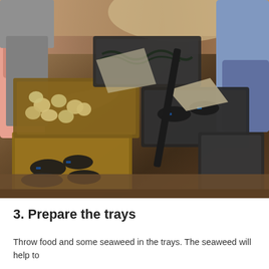[Figure (photo): People sorting food including lobsters and potatoes into wooden and plastic trays/crates. Several people's hands and arms are visible reaching into the boxes. The trays contain what appears to be lobsters, potatoes, and seaweed.]
3. Prepare the trays
Throw food and some seaweed in the trays. The seaweed will help to